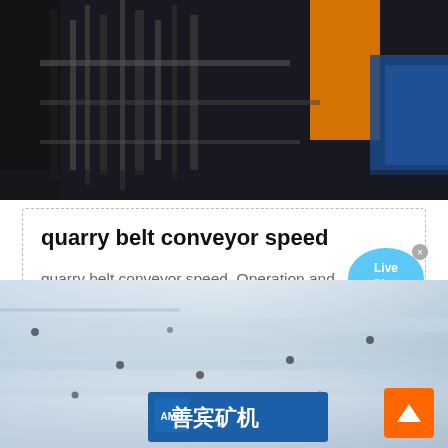[Figure (photo): Industrial conveyor or mining equipment in dark workshop setting with orange and blue elements]
quarry belt conveyor speed
quarry belt conveyor speed. Operation and Maintenance Manual for Conveyors - Quarry... belt conveyors manufactured by Quarry & Mining...
[Figure (photo): Close-up of metallic conveyor belt surface with bolts/rivets visible and Chinese manufacturer logo (善宾矿机 / AMC) at bottom]